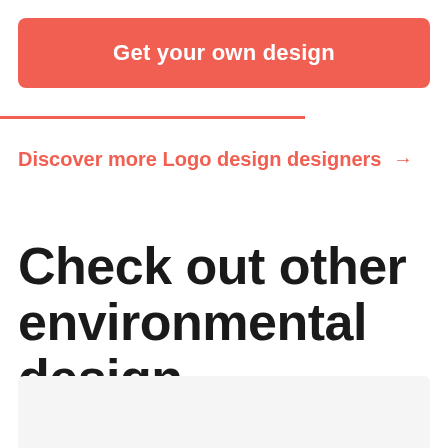Get your own design
Discover more Logo design designers →
Check out other environmental design inspiration